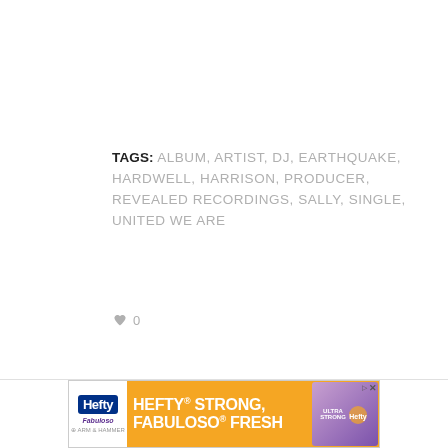TAGS: ALBUM, ARTIST, DJ, EARTHQUAKE, HARDWELL, HARRISON, PRODUCER, REVEALED RECORDINGS, SALLY, SINGLE, UNITED WE ARE
♥ 0
[Figure (other): Advertisement banner for Hefty brand products: 'HEFTY STRONG, FABULOSO FRESH' with Hefty logo, Fabuloso logo, Arm & Hammer logo, and product image on orange background.]